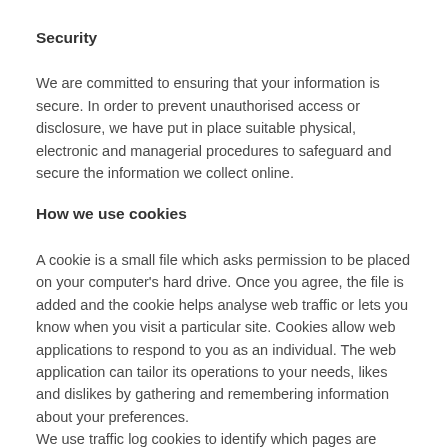Security
We are committed to ensuring that your information is secure. In order to prevent unauthorised access or disclosure, we have put in place suitable physical, electronic and managerial procedures to safeguard and secure the information we collect online.
How we use cookies
A cookie is a small file which asks permission to be placed on your computer's hard drive. Once you agree, the file is added and the cookie helps analyse web traffic or lets you know when you visit a particular site. Cookies allow web applications to respond to you as an individual. The web application can tailor its operations to your needs, likes and dislikes by gathering and remembering information about your preferences.
We use traffic log cookies to identify which pages are being used. This helps us analyse data about web page traffic and improve our website in order to tailor it to user needs. We only use this information for statistical analysis purposes, and then the data is removed from the system.
Overall, cookies help us provide you with a better website, by enabling us to monitor which pages you find useful and which you do